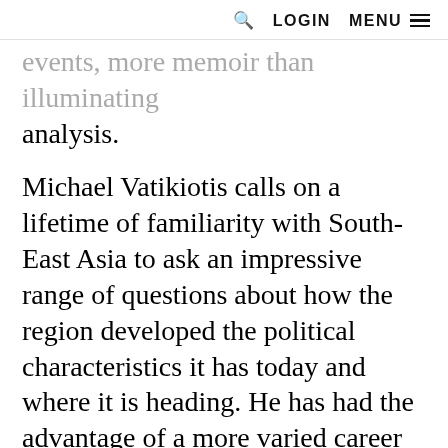🔍 LOGIN MENU
events, more memoir than illuminating analysis.
Michael Vatikiotis calls on a lifetime of familiarity with South-East Asia to ask an impressive range of questions about how the region developed the political characteristics it has today and where it is heading. He has had the advantage of a more varied career than most foreign correspondents, which has moved from reporting to editing and, for more than a decade now, to conflict mediation. His